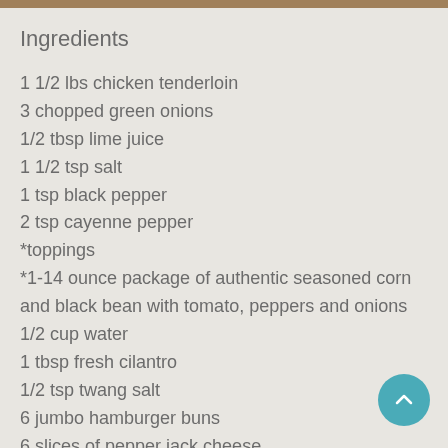Ingredients
1 1/2 lbs chicken tenderloin
3 chopped green onions
1/2 tbsp lime juice
1 1/2 tsp salt
1 tsp black pepper
2 tsp cayenne pepper
*toppings
*1-14 ounce package of authentic seasoned corn and black bean with tomato, peppers and onions
1/2 cup water
1 tbsp fresh cilantro
1/2 tsp twang salt
6 jumbo hamburger buns
6 slices of pepper jack cheese
cooking oil spray